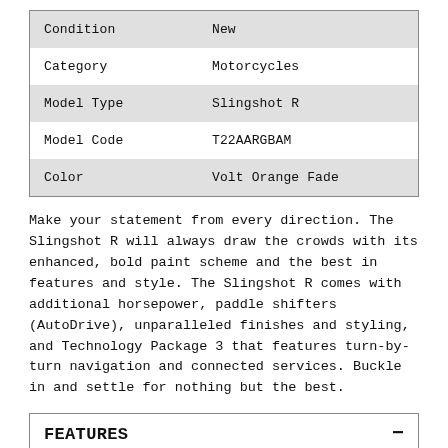| Condition | New |
| --- | --- |
| Condition | New |
| Category | Motorcycles |
| Model Type | Slingshot R |
| Model Code | T22AARGBAM |
| Color | Volt Orange Fade |
Make your statement from every direction. The Slingshot R will always draw the crowds with its enhanced, bold paint scheme and the best in features and style. The Slingshot R comes with additional horsepower, paddle shifters (AutoDrive), unparalleled finishes and styling, and Technology Package 3 that features turn-by-turn navigation and connected services. Buckle in and settle for nothing but the best.
FEATURES